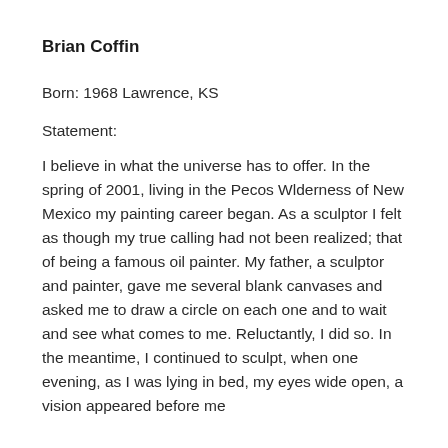Brian Coffin
Born: 1968 Lawrence, KS
Statement:
I believe in what the universe has to offer. In the spring of 2001, living in the Pecos Wlderness of New Mexico my painting career began. As a sculptor I felt as though my true calling had not been realized; that of being a famous oil painter. My father, a sculptor and painter, gave me several blank canvases and asked me to draw a circle on each one and to wait and see what comes to me. Reluctantly, I did so. In the meantime, I continued to sculpt, when one evening, as I was lying in bed, my eyes wide open, a vision appeared before me